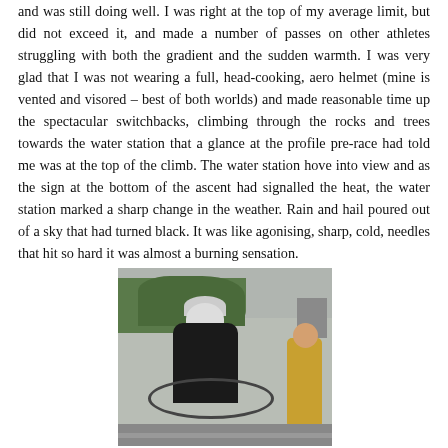and was still doing well. I was right at the top of my average limit, but did not exceed it, and made a number of passes on other athletes struggling with both the gradient and the sudden warmth.  I was very glad that I was not wearing a full, head-cooking, aero helmet (mine is vented and visored – best of both worlds) and made reasonable time up the spectacular switchbacks, climbing through the rocks and trees towards the water station that a glance at the profile pre-race had told me was at the top of the climb. The water station hove into view and as the sign at the bottom of the ascent had signalled the heat, the water station marked a sharp change in the weather. Rain and hail poured out of a sky that had turned black. It was like agonising, sharp, cold, needles that hit so hard it was almost a burning sensation.
[Figure (photo): A triathlete on a bicycle wearing a white helmet and dark kit, riding through what appears to be a race course with metal barriers on the sides, trees in the background, and an overcast sky. Another athlete visible on the right side.]